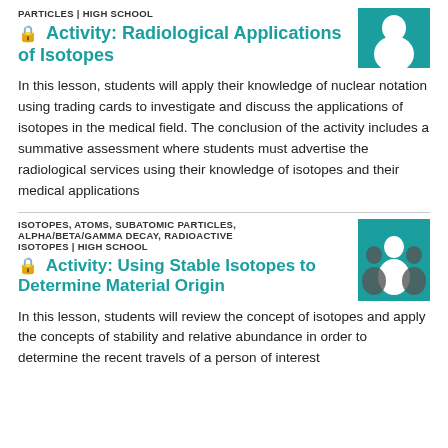PARTICLES | HIGH SCHOOL
Activity: Radiological Applications of Isotopes
In this lesson, students will apply their knowledge of nuclear notation using trading cards to investigate and discuss the applications of isotopes in the medical field. The conclusion of the activity includes a summative assessment where students must advertise the radiological services using their knowledge of isotopes and their medical applications
ISOTOPES, ATOMS, SUBATOMIC PARTICLES, ALPHA/BETA/GAMMA DECAY, RADIOACTIVE ISOTOPES | HIGH SCHOOL
Activity: Using Stable Isotopes to Determine Material Origin
In this lesson, students will review the concept of isotopes and apply the concepts of stability and relative abundance in order to determine the recent travels of a person of interest